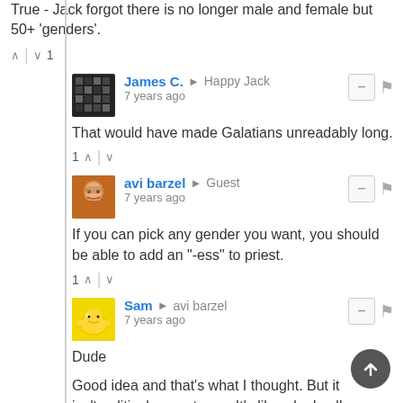True - Jack forgot there is no longer male and female but 50+ 'genders'.
1
James C. → Happy Jack
7 years ago
That would have made Galatians unreadably long.
1
avi barzel → Guest
7 years ago
If you can pick any gender you want, you should be able to add an "-ess" to priest.
1
Sam → avi barzel
7 years ago
Dude

Good idea and that's what I thought. But it isn't political correctness. It's like why I call even girls dudes (unless they are babes) which some have said is sexism on my part.